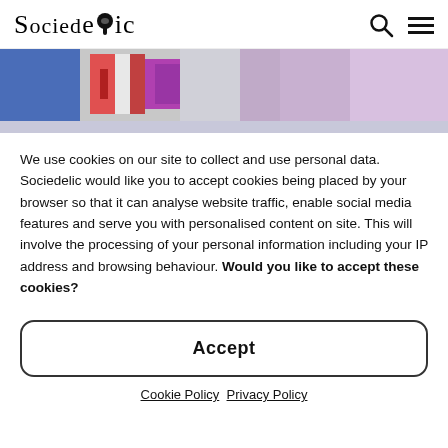Sociedelic
[Figure (photo): Colorful photo showing people in festive or cultural costumes with red, white, blue and purple colors visible.]
We use cookies on our site to collect and use personal data. Sociedelic would like you to accept cookies being placed by your browser so that it can analyse website traffic, enable social media features and serve you with personalised content on site. This will involve the processing of your personal information including your IP address and browsing behaviour. Would you like to accept these cookies?
Accept
Cookie Policy  Privacy Policy